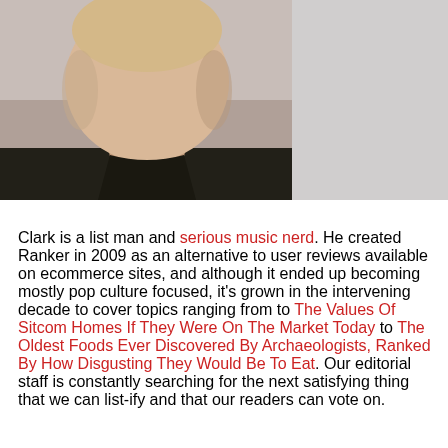[Figure (photo): Headshot photo of a man (Clark) with short blond hair wearing a dark navy/black t-shirt, smiling slightly, against a neutral grey background. The photo occupies the left two-thirds of the top portion of the page.]
Clark is a list man and serious music nerd. He created Ranker in 2009 as an alternative to user reviews available on ecommerce sites, and although it ended up becoming mostly pop culture focused, it's grown in the intervening decade to cover topics ranging from to The Values Of Sitcom Homes If They Were On The Market Today to The Oldest Foods Ever Discovered By Archaeologists, Ranked By How Disgusting They Would Be To Eat. Our editorial staff is constantly searching for the next satisfying thing that we can list-ify and that our readers can vote on.